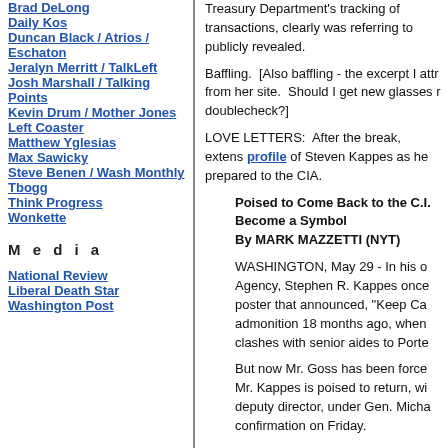Brad DeLong
Daily Kos
Duncan Black / Atrios / Eschaton
Jeralyn Merritt / TalkLeft
Josh Marshall / Talking Points
Kevin Drum / Mother Jones
Left Coaster
Matthew Yglesias
Max Sawicky
Steve Benen / Wash Monthly
Tbogg
Think Progress
Wonkette
M e d i a
National Review
Liberal Death Star
Washington Post
Treasury Department's tracking of transactions, clearly was referring to publicly revealed.
Baffling.  [Also baffling - the excerpt I attr from her site.  Should I get new glasses r doublecheck?]
LOVE LETTERS:  After the break, extens profile of Steven Kappes as he prepared to the CIA.
Poised to Come Back to the C.I. Become a Symbol
By MARK MAZZETTI (NYT)
WASHINGTON, May 29 - In his o Agency, Stephen R. Kappes once poster that announced, "Keep Ca admonition 18 months ago, when clashes with senior aides to Porte
But now Mr. Goss has been force Mr. Kappes is poised to return, wi deputy director, under Gen. Micha confirmation on Friday.